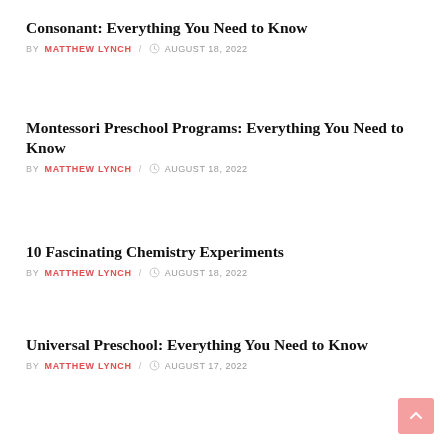Consonant: Everything You Need to Know
BY MATTHEW LYNCH / AUGUST 18, 2022
Montessori Preschool Programs: Everything You Need to Know
BY MATTHEW LYNCH / AUGUST 18, 2022
10 Fascinating Chemistry Experiments
BY MATTHEW LYNCH / AUGUST 18, 2022
Universal Preschool: Everything You Need to Know
BY MATTHEW LYNCH / AUGUST 17, 2022